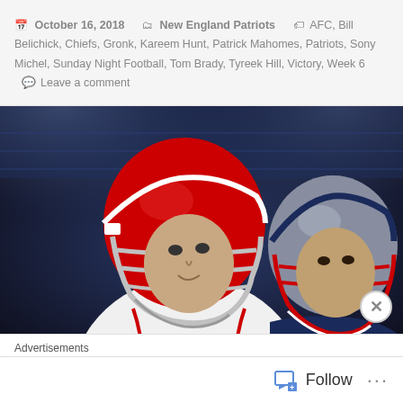October 16, 2018  New England Patriots  AFC, Bill Belichick, Chiefs, Gronk, Kareem Hunt, Patrick Mahomes, Patriots, Sony Michel, Sunday Night Football, Tom Brady, Tyreek Hill, Victory, Week 6  Leave a comment
[Figure (photo): Two NFL players in helmets facing each other — Kansas City Chiefs player in red helmet and white jersey on the left, New England Patriots player in grey and red helmet and navy jersey on the right, stadium lights in background]
Advertisements
[Figure (other): Blue advertisement banner]